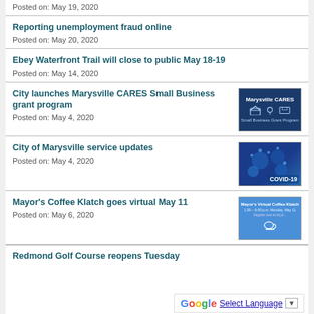Posted on: May 19, 2020
Reporting unemployment fraud online
Posted on: May 20, 2020
Ebey Waterfront Trail will close to public May 18-19
Posted on: May 14, 2020
City launches Marysville CARES Small Business grant program
Posted on: May 4, 2020
[Figure (photo): Marysville CARES Small Business Grant Program promotional image on dark blue background]
City of Marysville service updates
Posted on: May 4, 2020
[Figure (photo): COVID-19 coronavirus cell image on blue background with COVID-19 label]
Mayor's Coffee Klatch goes virtual May 11
Posted on: May 6, 2020
[Figure (photo): Mayor's Virtual Coffee Klatch event announcement on blue background]
Redmond Golf Course reopens Tuesday
Select Language